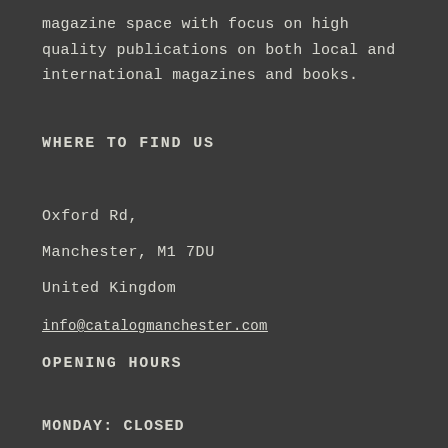magazine space with focus on high quality publications on both local and international magazines and books.
WHERE TO FIND US
Oxford Rd,
Manchester, M1 7DU
United Kingdom
info@catalogmanchester.com
OPENING HOURS
MONDAY: CLOSED
TUESDAY – FRIDAY: 10AM – 5PM